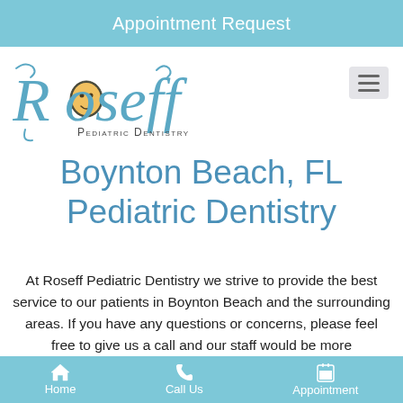Appointment Request
[Figure (logo): Roseff Pediatric Dentistry logo with stylized text and baby face icon]
Boynton Beach, FL Pediatric Dentistry
At Roseff Pediatric Dentistry we strive to provide the best service to our patients in Boynton Beach and the surrounding areas. If you have any questions or concerns, please feel free to give us a call and our staff would be more
Home   Call Us   Appointment